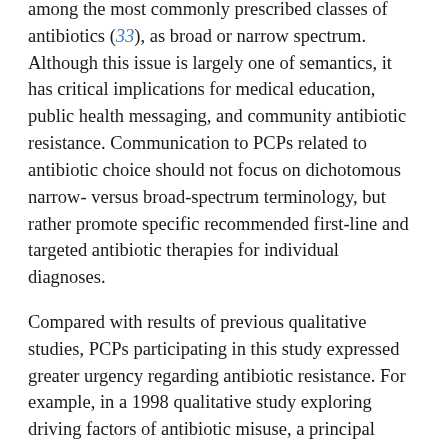among the most commonly prescribed classes of antibiotics (33), as broad or narrow spectrum. Although this issue is largely one of semantics, it has critical implications for medical education, public health messaging, and community antibiotic resistance. Communication to PCPs related to antibiotic choice should not focus on dichotomous narrow- versus broad-spectrum terminology, but rather promote specific recommended first-line and targeted antibiotic therapies for individual diagnoses.
Compared with results of previous qualitative studies, PCPs participating in this study expressed greater urgency regarding antibiotic resistance. For example, in a 1998 qualitative study exploring driving factors of antibiotic misuse, a principal barrier to change in antibiotic prescribing was the attitude that antibiotic resistance was not an important problem (19). Another study published in the same year noted